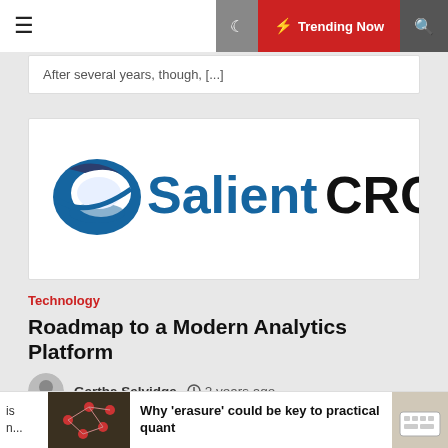Trending Now
After several years, though, [...]
[Figure (logo): Salient CRGT logo — blue swoosh icon with 'SalientCRGT' text in blue and black]
Technology
Roadmap to a Modern Analytics Platform
Gertha Selvidge   2 years ago
FAIRFAX, Va., Aug. 12, 2020 /PRNewswire/ — Even before COVID-19, federal government agencies recognized the need
Why 'erasure' could be key to practical quant